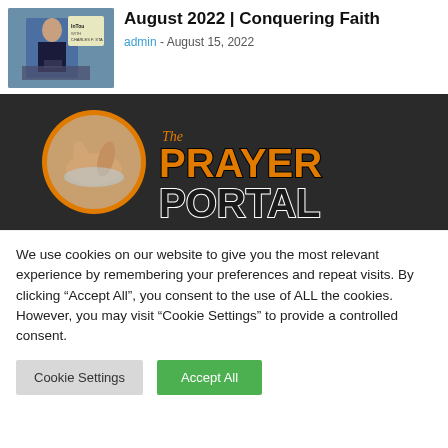[Figure (screenshot): Thumbnail image of a man at a podium with 'In Touch with Charles F. Stanley' overlay]
August 2022 | Conquering Faith
admin - August 15, 2022
[Figure (logo): The Prayer Portal logo — circular image of praying hands over a bible with orange and black text reading 'The PRAYER PORTAL' on a dark background]
We use cookies on our website to give you the most relevant experience by remembering your preferences and repeat visits. By clicking "Accept All", you consent to the use of ALL the cookies. However, you may visit "Cookie Settings" to provide a controlled consent.
Cookie Settings   Accept All